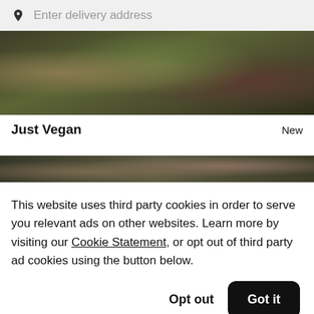Enter delivery address
[Figure (photo): Top-down photo of various vegan food dishes in dark bowls]
Just Vegan
New
[Figure (photo): Partial photo of vegan food dishes, partially obscured by cookie consent overlay]
This website uses third party cookies in order to serve you relevant ads on other websites. Learn more by visiting our Cookie Statement, or opt out of third party ad cookies using the button below.
Opt out
Got it